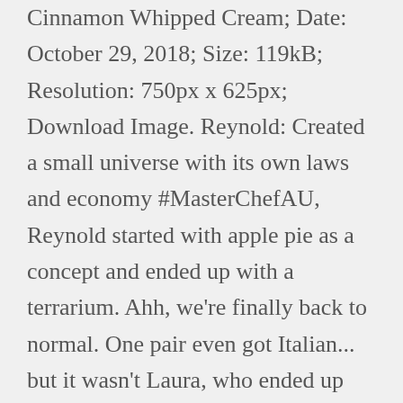Cinnamon Whipped Cream; Date: October 29, 2018; Size: 119kB; Resolution: 750px x 625px; Download Image. Reynold: Created a small universe with its own laws and economy #MasterChefAU, Reynold started with apple pie as a concept and ended up with a terrarium. Ahh, we're finally back to normal. One pair even got Italian... but it wasn't Laura, who ended up with Japanese. Should I have one of these? I'm just trying to stay calm. #MasterchefAU, dUmPLinG unDiES hahahahahsjdjdksjs #MasterChefAU. In a small saucepan combine the apple, water, brown sugar, honey, nutmeg, cinnamon and simmer on medium heat for 10–15 minutes. Top with a dollop of vanilla yogurt for an a la mode effect.